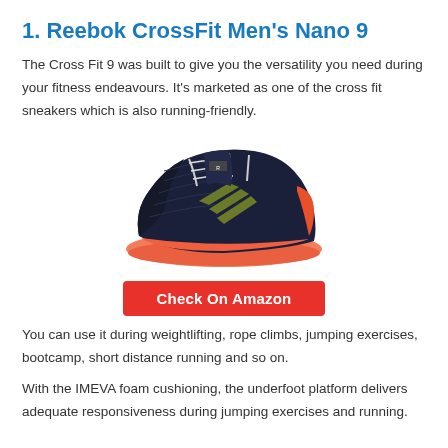1. Reebok CrossFit Men's Nano 9
The Cross Fit 9 was built to give you the versatility you need during your fitness endeavours. It's marketed as one of the cross fit sneakers which is also running-friendly.
[Figure (photo): Reebok CrossFit Nano 9 shoe in black with olive green Reebok logo and orange/coral sole, viewed from the side]
Check On Amazon
You can use it during weightlifting, rope climbs, jumping exercises, bootcamp, short distance running and so on.
With the IMEVA foam cushioning, the underfoot platform delivers adequate responsiveness during jumping exercises and running.